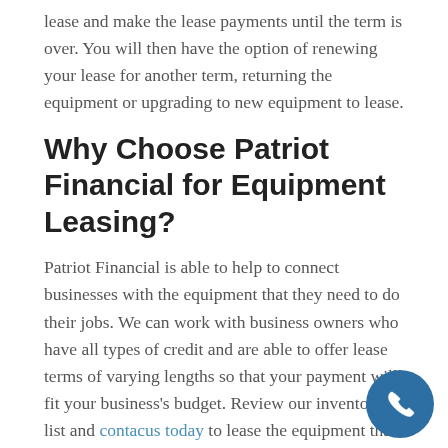lease and make the lease payments until the term is over. You will then have the option of renewing your lease for another term, returning the equipment or upgrading to new equipment to lease.
Why Choose Patriot Financial for Equipment Leasing?
Patriot Financial is able to help to connect businesses with the equipment that they need to do their jobs. We can work with business owners who have all types of credit and are able to offer lease terms of varying lengths so that your payment will fit your business's budget. Review our inventory list and contact us today to lease the equipment that you ne...